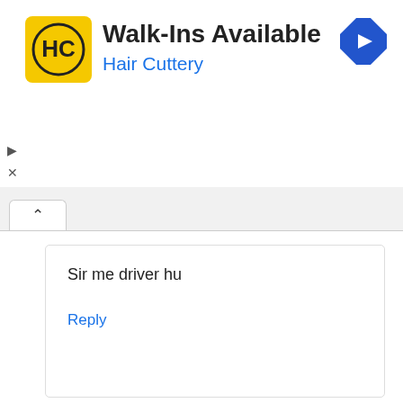[Figure (screenshot): Hair Cuttery advertisement banner with yellow logo (HC), text 'Walk-Ins Available' and 'Hair Cuttery' in blue, and a blue diamond navigation arrow icon on the right.]
Sir me driver hu
Reply
santosh singh
2018-05-15 at 8:57 pm
Sir g budhane me nikalege ka 25